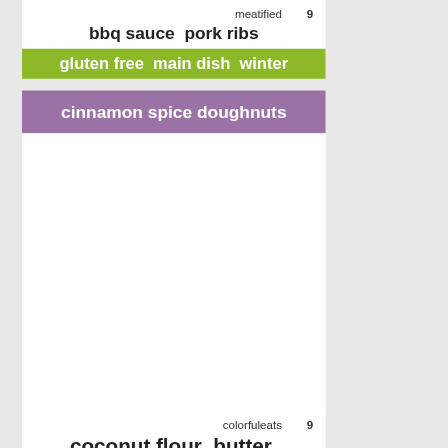meatified   9
bbq sauce  pork ribs
gluten free  main dish  winter
cinnamon spice doughnuts
colorfuleats   9
coconut flour  butter  almond flour